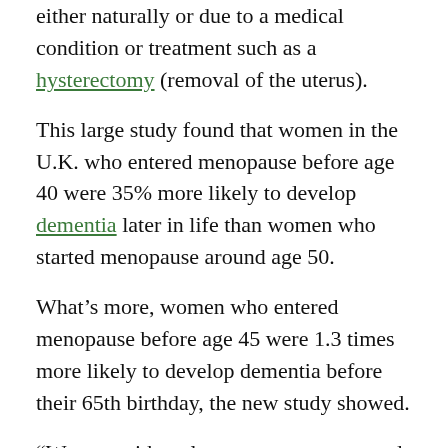either naturally or due to a medical condition or treatment such as a hysterectomy (removal of the uterus).
This large study found that women in the U.K. who entered menopause before age 40 were 35% more likely to develop dementia later in life than women who started menopause around age 50.
What’s more, women who entered menopause before age 45 were 1.3 times more likely to develop dementia before their 65th birthday, the new study showed.
“Women with early menopause may need a close monitoring of their cognitive decline in clinical practice,” said study author Dr. Wenting Hao, a Ph.D. candidate at Shandong University in Jinan, China.
The higher risk for dementia may be due to the